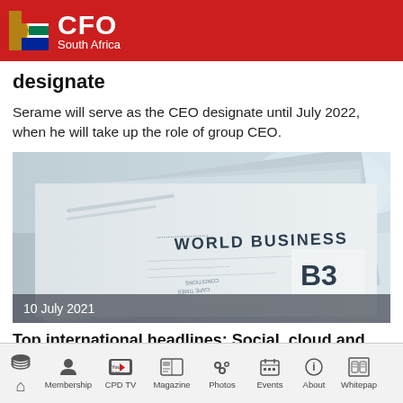CFO South Africa
designate
Serame will serve as the CEO designate until July 2022, when he will take up the role of group CEO.
[Figure (photo): Stack of newspapers showing 'WORLD BUSINESS' and 'B3' section headlines, with date overlay '10 July 2021']
10 July 2021
Top international headlines: Social, cloud and big tech in the spotlight this week
Home  Membership  CPD TV  Magazine  Photos  Events  About  Whitepap